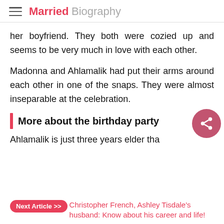Married Biography
her boyfriend. They both were cozied up and seems to be very much in love with each other.
Madonna and Ahlamalik had put their arms around each other in one of the snaps. They were almost inseparable at the celebration.
More about the birthday party
Ahlamalik is just three years elder tha
Next Article >> Christopher French, Ashley Tisdale's husband: Know about his career and life!